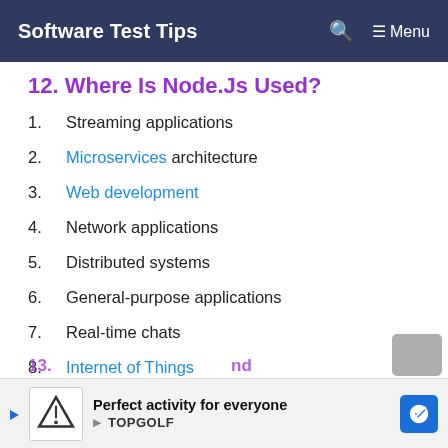Software Test Tips  🔍  ☰ Menu
12. Where Is Node.Js Used?
Streaming applications
Microservices architecture
Web development
Network applications
Distributed systems
General-purpose applications
Real-time chats
Internet of Things
13. [partial, cut off] nd
[Figure (other): Advertisement banner for Topgolf: 'Perfect activity for everyone' with Topgolf logo and navigation arrow icon]